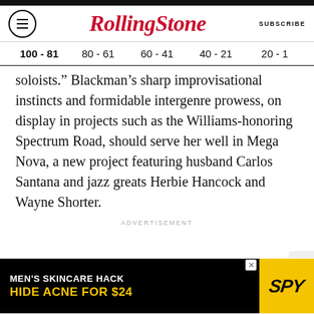RollingStone | SUBSCRIBE
100 - 81  80 - 61  60 - 41  40 - 21  20 - 1
soloists.” Blackman’s sharp improvisational instincts and formidable intergenre prowess, on display in projects such as the Williams-honoring Spectrum Road, should serve her well in Mega Nova, a new project featuring husband Carlos Santana and jazz greats Herbie Hancock and Wayne Shorter.
ADVERTISEMENT